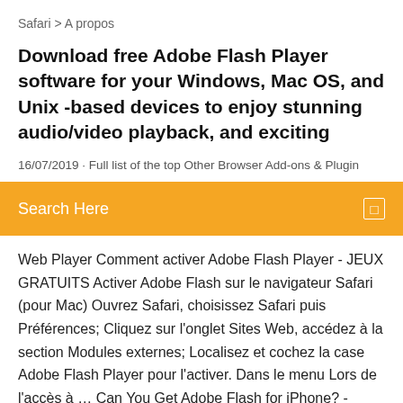Safari > A propos
Download free Adobe Flash Player software for your Windows, Mac OS, and Unix -based devices to enjoy stunning audio/video playback, and exciting
16/07/2019 · Full list of the top Other Browser Add-ons & Plugin
Search Here
Web Player Comment activer Adobe Flash Player - JEUX GRATUITS Activer Adobe Flash sur le navigateur Safari (pour Mac) Ouvrez Safari, choisissez Safari puis Préférences; Cliquez sur l'onglet Sites Web, accédez à la section Modules externes; Localisez et cochez la case Adobe Flash Player pour l'activer. Dans le menu Lors de l'accès à … Can You Get Adobe Flash for iPhone? - Lifewire Bad news Flash fans: Adobe officially ceased development of Flash for all mobile devices in 2011. As a result, you can feel close to 100% certain that Flash will never come to the iPhone. In fact, Flash is on the way out across the entire